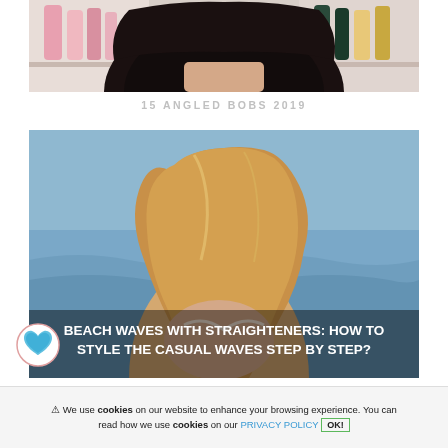[Figure (photo): Top portion of a person with a dark angled bob haircut, with hair product bottles on shelves in background]
15 ANGLED BOBS 2019
[Figure (photo): Woman with long flowing beach waves hair standing near the ocean, text overlay: BEACH WAVES WITH STRAIGHTENERS: HOW TO STYLE THE CASUAL WAVES STEP BY STEP?]
⚠ We use cookies on our website to enhance your browsing experience. You can read how we use cookies on our PRIVACY POLICY OK!